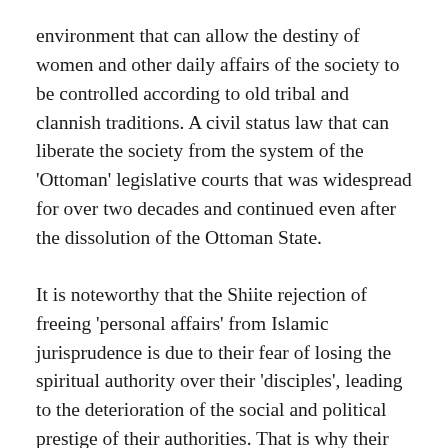environment that can allow the destiny of women and other daily affairs of the society to be controlled according to old tribal and clannish traditions. A civil status law that can liberate the society from the system of the 'Ottoman' legislative courts that was widespread for over two decades and continued even after the dissolution of the Ottoman State.
It is noteworthy that the Shiite rejection of freeing 'personal affairs' from Islamic jurisprudence is due to their fear of losing the spiritual authority over their 'disciples', leading to the deterioration of the social and political prestige of their authorities. That is why their rejection is openly directed to the 'governance' of personal statuses, consequently making women the